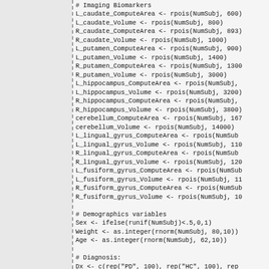# Imaging Biomarkers
L_caudate_ComputeArea <- rpois(NumSubj, 600)
L_caudate_Volume <- rpois(NumSubj, 800)
R_caudate_ComputeArea <- rpois(NumSubj, 893)
R_caudate_Volume <- rpois(NumSubj, 1000)
L_putamen_ComputeArea <- rpois(NumSubj, 900)
L_putamen_Volume <- rpois(NumSubj, 1400)
R_putamen_ComputeArea <- rpois(NumSubj, 1300)
R_putamen_Volume <- rpois(NumSubj, 3000)
L_hippocampus_ComputeArea <- rpois(NumSubj,
L_hippocampus_Volume <- rpois(NumSubj, 3200)
R_hippocampus_ComputeArea <- rpois(NumSubj,
R_hippocampus_Volume <- rpois(NumSubj, 3800)
cerebellum_ComputeArea <- rpois(NumSubj, 167)
cerebellum_Volume <- rpois(NumSubj, 14000)
L_lingual_gyrus_ComputeArea <- rpois(NumSub)
L_lingual_gyrus_Volume <- rpois(NumSubj, 110)
R_lingual_gyrus_ComputeArea <- rpois(NumSub)
R_lingual_gyrus_Volume <- rpois(NumSubj, 120)
L_fusiform_gyrus_ComputeArea <- rpois(NumSub)
L_fusiform_gyrus_Volume <- rpois(NumSubj, 11)
R_fusiform_gyrus_ComputeArea <- rpois(NumSub)
R_fusiform_gyrus_Volume <- rpois(NumSubj, 10)

# Demographics variables
Sex <- ifelse(runif(NumSubj)<.5,0,1)
Weight <- as.integer(rnorm(NumSubj, 80,10))
Age <- as.integer(rnorm(NumSubj, 62,10))

# Diagnosis:
Dx <- c(rep("PD", 100), rep("HC", 100), rep)

# Genetics
chr12_rs34637584_GT <-  c(ifelse(runif(100))
chr17_rs11868035_GT <-  c(ifelse(runif(100))

# Clinical     # rpois(NumSubj, 15) + rpois
UPDRS_part_I <- c( ifelse(runif(100)<.7,0,1)
ifelse(runif(100)<.6,0,1)+ ifelse(runif(100)
ifelse(runif(82)<.4,0,1)+ ifelse(runif(82)+